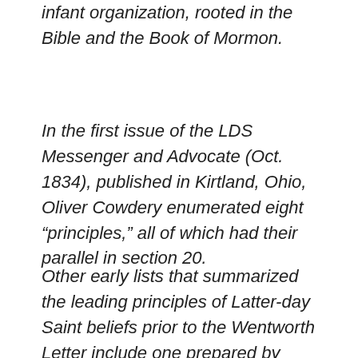infant organization, rooted in the Bible and the Book of Mormon.
In the first issue of the LDS Messenger and Advocate (Oct. 1834), published in Kirtland, Ohio, Oliver Cowdery enumerated eight "principles," all of which had their parallel in section 20.
Other early lists that summarized the leading principles of Latter-day Saint beliefs prior to the Wentworth Letter include one prepared by Joseph Young for publication by John Hayward in The Religious Creeds and Statistics of Every